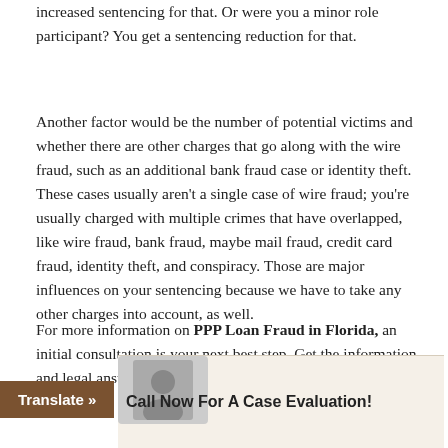increased sentencing for that. Or were you a minor role participant? You get a sentencing reduction for that.
Another factor would be the number of potential victims and whether there are other charges that go along with the wire fraud, such as an additional bank fraud case or identity theft. These cases usually aren't a single case of wire fraud; you're usually charged with multiple crimes that have overlapped, like wire fraud, bank fraud, maybe mail fraud, credit card fraud, identity theft, and conspiracy. Those are major influences on your sentencing because we have to take any other charges into account, as well.
For more information on PPP Loan Fraud in Florida, an initial consultation is your next best step. Get the information and legal answers you are seeking by calling (305) 791-6529 today.
[Figure (other): Call Now For A Case Evaluation banner with a photo placeholder and a Translate button]